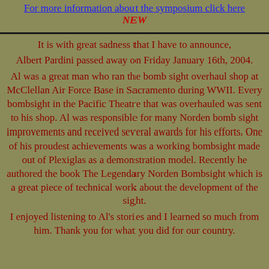For more information about the symposium click here
NEW
It is with great sadness that I have to announce,
Albert Pardini passed away on Friday January 16th, 2004.
Al was a great man who ran the bomb sight overhaul shop at McClellan Air Force Base in Sacramento during WWII. Every bombsight in the Pacific Theatre that was overhauled was sent to his shop. Al was responsible for many Norden bomb sight improvements and received several awards for his efforts. One of his proudest achievements was a working bombsight made out of Plexiglas as a demonstration model. Recently he authored the book The Legendary Norden Bombsight which is a great piece of technical work about the development of the sight.
I enjoyed listening to Al's stories and I learned so much from him. Thank you for what you did for our country.